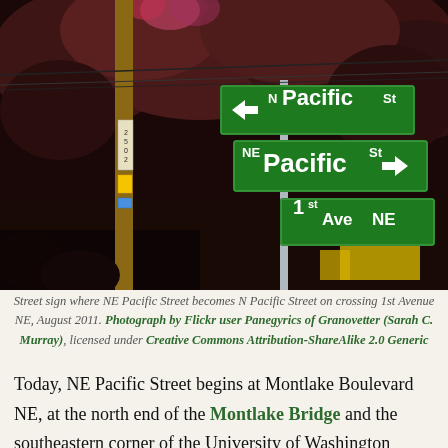[Figure (photo): Street sign photograph showing three green street signs on a pole at an intersection: 'N Pacific St' with left arrow, 'NE Pacific St' with right arrow, and '1st Ave NE'. A wooden utility pole is visible on the left with the number 2502. Dark reddish-brown trees fill the background. August 2011.]
Street sign where NE Pacific Street becomes N Pacific Street on crossing 1st Avenue NE, August 2011. Photograph by Flickr user Panegyrics of Granovetter (Sarah C. Murray), licensed under Creative Commons Attribution-ShareAlike 2.0 Generic
Today, NE Pacific Street begins at Montlake Boulevard NE, at the north end of the Montlake Bridge and the southeastern corner of the University of Washington